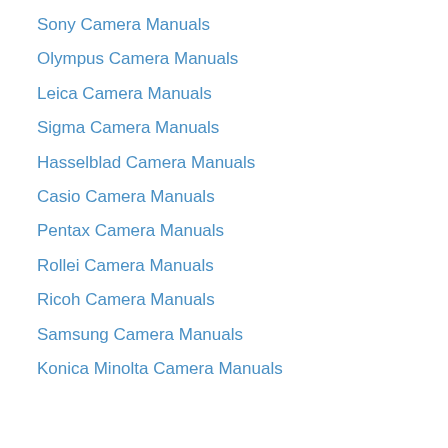Sony Camera Manuals
Olympus Camera Manuals
Leica Camera Manuals
Sigma Camera Manuals
Hasselblad Camera Manuals
Casio Camera Manuals
Pentax Camera Manuals
Rollei Camera Manuals
Ricoh Camera Manuals
Samsung Camera Manuals
Konica Minolta Camera Manuals